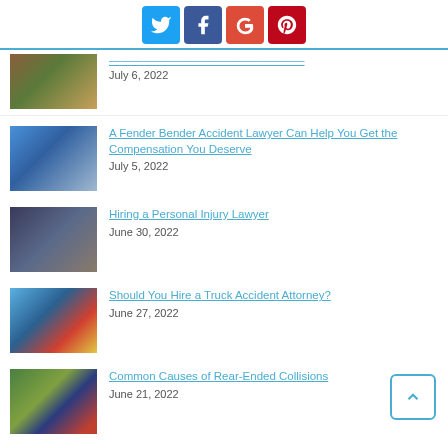[Figure (infographic): Social media sharing icons: Twitter (blue), Facebook (dark blue), Google+ (red), Pinterest (dark red)]
[Figure (photo): Partial article thumbnail - dog being groomed or treated]
July 6, 2022
[Figure (photo): Woman on phone at car accident scene with blue car damaged]
A Fender Bender Accident Lawyer Can Help You Get the Compensation You Deserve
July 5, 2022
[Figure (photo): Handshake across a table with documents]
Hiring a Personal Injury Lawyer
June 30, 2022
[Figure (photo): Overturned truck on road with traffic cone]
Should You Hire a Truck Accident Attorney?
June 27, 2022
[Figure (photo): Rear-ended vehicle on road with traffic]
Common Causes of Rear-Ended Collisions
June 21, 2022
[Figure (photo): Partial article thumbnail at bottom of page]